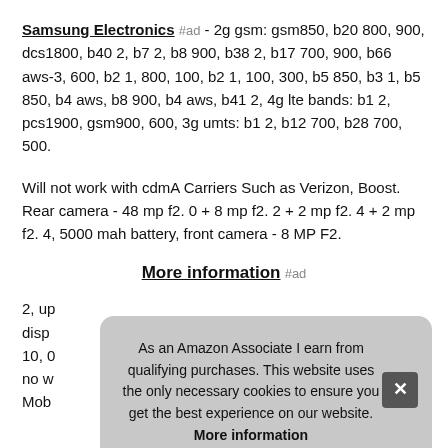Samsung Electronics #ad - 2g gsm: gsm850, b20 800, 900, dcs1800, b40 2, b7 2, b8 900, b38 2, b17 700, 900, b66 aws-3, 600, b2 1, 800, 100, b2 1, 100, 300, b5 850, b3 1, b5 850, b4 aws, b8 900, b4 aws, b41 2, 4g lte bands: b1 2, pcs1900, gsm900, 600, 3g umts: b1 2, b12 700, b28 700, 500.
Will not work with cdmA Carriers Such as Verizon, Boost. Rear camera - 48 mp f2. 0 + 8 mp f2. 2 + 2 mp f2. 4 + 2 mp f2. 4, 5000 mah battery, front camera - 8 MP F2.
More information #ad
2, up disp 10, 0 no w Mob
As an Amazon Associate I earn from qualifying purchases. This website uses the only necessary cookies to ensure you get the best experience on our website. More information